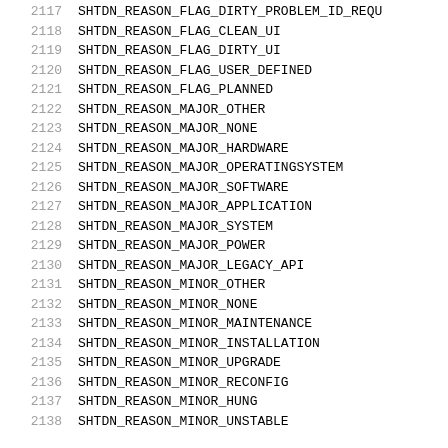2117  SHTDN_REASON_FLAG_DIRTY_PROBLEM_ID_REQU...
2118  SHTDN_REASON_FLAG_CLEAN_UI
2119  SHTDN_REASON_FLAG_DIRTY_UI
2120  SHTDN_REASON_FLAG_USER_DEFINED
2121  SHTDN_REASON_FLAG_PLANNED
2122  SHTDN_REASON_MAJOR_OTHER
2123  SHTDN_REASON_MAJOR_NONE
2124  SHTDN_REASON_MAJOR_HARDWARE
2125  SHTDN_REASON_MAJOR_OPERATINGSYSTEM
2126  SHTDN_REASON_MAJOR_SOFTWARE
2127  SHTDN_REASON_MAJOR_APPLICATION
2128  SHTDN_REASON_MAJOR_SYSTEM
2129  SHTDN_REASON_MAJOR_POWER
2130  SHTDN_REASON_MAJOR_LEGACY_API
2131  SHTDN_REASON_MINOR_OTHER
2132  SHTDN_REASON_MINOR_NONE
2133  SHTDN_REASON_MINOR_MAINTENANCE
2134  SHTDN_REASON_MINOR_INSTALLATION
2135  SHTDN_REASON_MINOR_UPGRADE
2136  SHTDN_REASON_MINOR_RECONFIG
2137  SHTDN_REASON_MINOR_HUNG
2138  SHTDN_REASON_MINOR_UNSTABLE